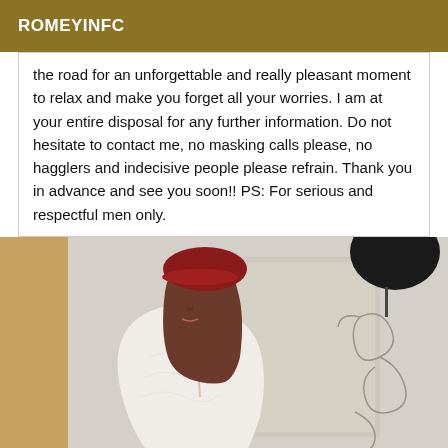ROMEYINFC
the road for an unforgettable and really pleasant moment to relax and make you forget all your worries. I am at your entire disposal for any further information. Do not hesitate to contact me, no masking calls please, no hagglers and indecisive people please refrain. Thank you in advance and see you soon!! PS: For serious and respectful men only.
[Figure (photo): A woman with brown shoulder-length hair wearing a red beret and white lace robe, photographed indoors near a mirror with decorative scrollwork.]